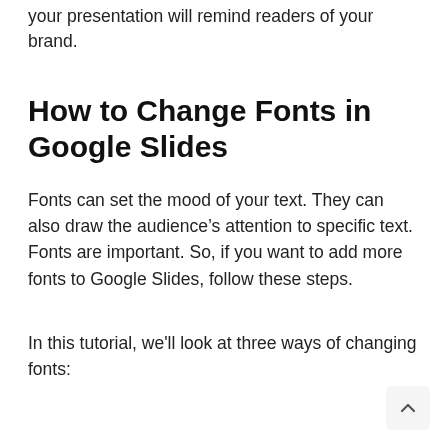your presentation will remind readers of your brand.
How to Change Fonts in Google Slides
Fonts can set the mood of your text. They can also draw the audience’s attention to specific text. Fonts are important. So, if you want to add more fonts to Google Slides, follow these steps.
In this tutorial, we’ll look at three ways of changing fonts: